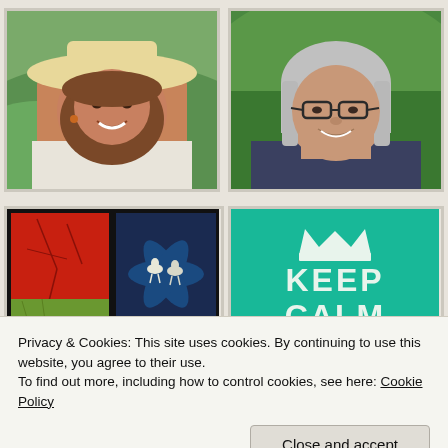[Figure (photo): Two side-by-side portrait photos: left shows a smiling woman wearing a wide-brim white hat outdoors with green hills behind; right shows a smiling older woman with gray hair and glasses outdoors with green foliage behind.]
[Figure (photo): Two rows of images: left side shows two craft/art images - a red cracked ceramic piece and a dark blue flower-shaped quilted piece with deer silhouettes; right side shows a teal/green 'Keep Calm' poster with a crown.]
Privacy & Cookies: This site uses cookies. By continuing to use this website, you agree to their use.
To find out more, including how to control cookies, see here: Cookie Policy
Close and accept